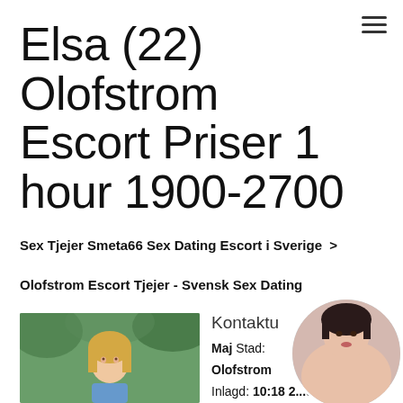Elsa (22) Olofstrom Escort Priser 1 hour 1900-2700
Sex Tjejer Smeta66 Sex Dating Escort i Sverige >
Olofstrom Escort Tjejer - Svensk Sex Dating
[Figure (photo): Photo of a young blonde woman outdoors with tropical foliage background]
Kontaktu
Maj Stad:
Olofstrom
Inlagd: 10:18 2...021
Profil: 46564742319
[Figure (photo): Circular avatar photo of a dark-haired woman]